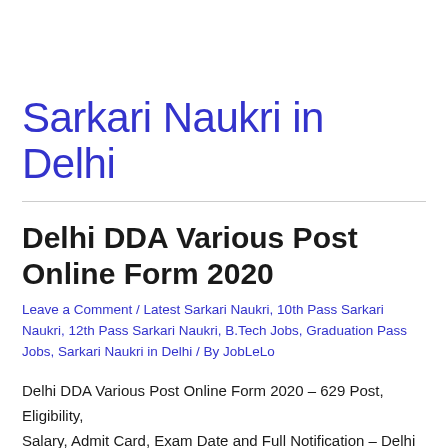Sarkari Naukri in Delhi
Delhi DDA Various Post Online Form 2020
Leave a Comment / Latest Sarkari Naukri, 10th Pass Sarkari Naukri, 12th Pass Sarkari Naukri, B.Tech Jobs, Graduation Pass Jobs, Sarkari Naukri in Delhi / By JobLeLo
Delhi DDA Various Post Online Form 2020 – 629 Post, Eligibility, Salary, Admit Card, Exam Date and Full Notification – Delhi